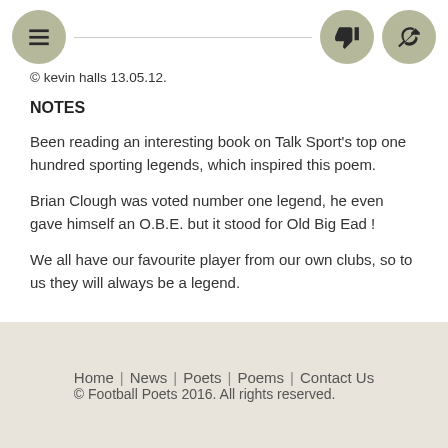© kevin halls 13.05.12.
NOTES
Been reading an interesting book on Talk Sport's top one hundred sporting legends, which inspired this poem.
Brian Clough was voted number one legend, he even gave himself an O.B.E. but it stood for Old Big Ead !
We all have our favourite player from our own clubs, so to us they will always be a legend.
Home | News | Poets | Poems | Contact Us
© Football Poets 2016. All rights reserved.